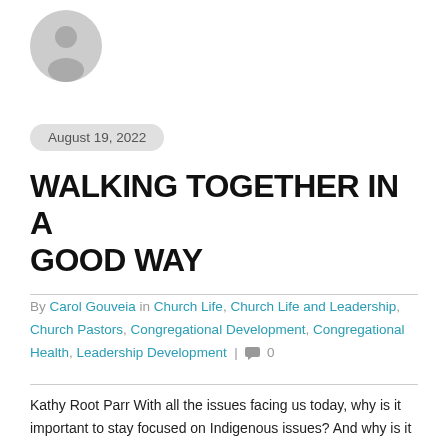[Figure (illustration): Gray placeholder avatar circle with person silhouette icon]
August 19, 2022
WALKING TOGETHER IN A GOOD WAY
By Carol Gouveia in Church Life, Church Life and Leadership, Church Pastors, Congregational Development, Congregational Health, Leadership Development | 0
Kathy Root Parr With all the issues facing us today, why is it important to stay focused on Indigenous issues? And why is it ...